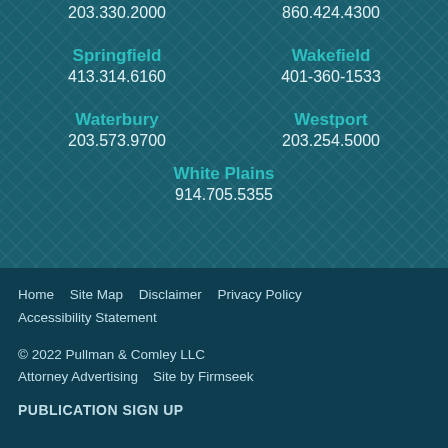203.330.2000    860.424.4300
Springfield
413.314.6160
Wakefield
401-360-1533
Waterbury
203.573.9700
Westport
203.254.5000
White Plains
914.705.5355
Home   Site Map   Disclaimer   Privacy Policy   Accessibility Statement
© 2022 Pullman & Comley LLC   Attorney Advertising   Site by Firmseek
PUBLICATION SIGN UP